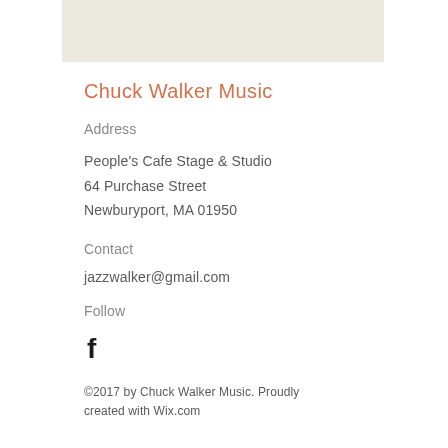[Figure (other): Beige/tan colored banner strip at top of page]
Chuck Walker Music
Address
People's Cafe Stage & Studio
64 Purchase Street
Newburyport, MA 01950
Contact
jazzwalker@gmail.com
Follow
[Figure (logo): Facebook logo icon (letter f in black)]
©2017 by Chuck Walker Music. Proudly created with Wix.com